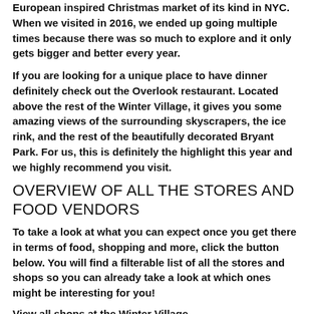European inspired Christmas market of its kind in NYC. When we visited in 2016, we ended up going multiple times because there was so much to explore and it only gets bigger and better every year.
If you are looking for a unique place to have dinner definitely check out the Overlook restaurant. Located above the rest of the Winter Village, it gives you some amazing views of the surrounding skyscrapers, the ice rink, and the rest of the beautifully decorated Bryant Park. For us, this is definitely the highlight this year and we highly recommend you visit.
OVERVIEW OF ALL THE STORES AND FOOD VENDORS
To take a look at what you can expect once you get there in terms of food, shopping and more, click the button below. You will find a filterable list of all the stores and shops so you can already take a look at which ones might be interesting for you!
View all shops at the Winter Village